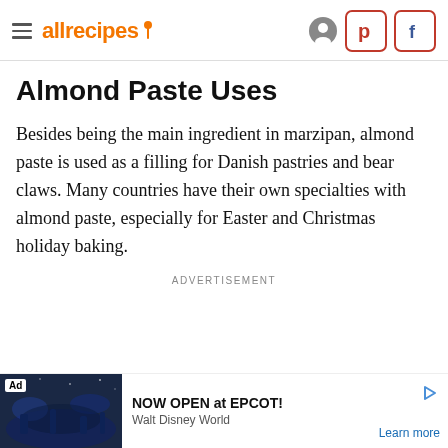allrecipes
Almond Paste Uses
Besides being the main ingredient in marzipan, almond paste is used as a filling for Danish pastries and bear claws. Many countries have their own specialties with almond paste, especially for Easter and Christmas holiday baking.
ADVERTISEMENT
[Figure (screenshot): Ad banner for EPCOT at Walt Disney World with dark nighttime image and text 'NOW OPEN at EPCOT! Walt Disney World Learn more']